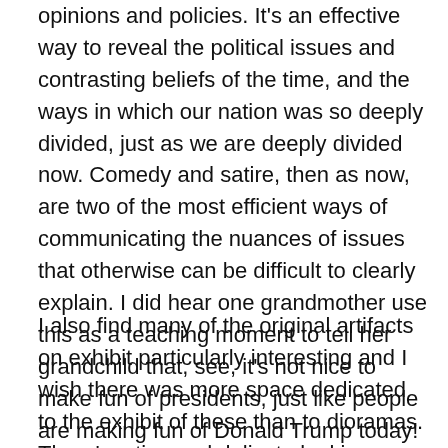opinions and policies. It's an effective way to reveal the political issues and contrasting beliefs of the time, and the ways in which our nation was so deeply divided, just as we are deeply divided now. Comedy and satire, then as now, are two of the most efficient ways of communicating the nuances of issues that otherwise can be difficult to clearly explain. I did hear one grandmother use this as a teaching moment to tell her grandchild that, see, it's not nice to make fun of presidents, just like people are making fun of Donald Trump today! I think she may have missed the point of the exhibit a little.
I also find many of the original artifacts on exhibit particularly interesting and I wish there was more space dedicated to the exhibit of these than to dioramas. There's a tiny and delicate looking pocket sundial and compass set belonging to Captain Abraham Lincoln, Lincoln's